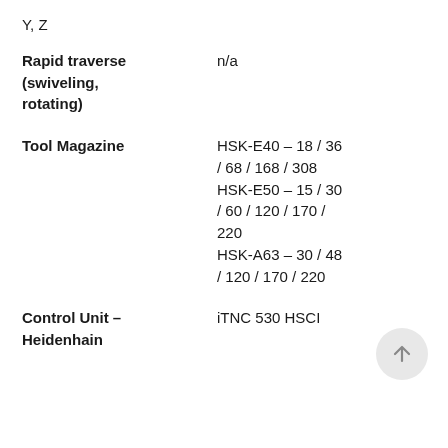Y, Z
Rapid traverse (swiveling, rotating)   n/a
Tool Magazine   HSK-E40 – 18 / 36 / 68 / 168 / 308
HSK-E50 – 15 / 30 / 60 / 120 / 170 / 220
HSK-A63 – 30 / 48 / 120 / 170 / 220
Control Unit – Heidenhain   iTNC 530 HSCI